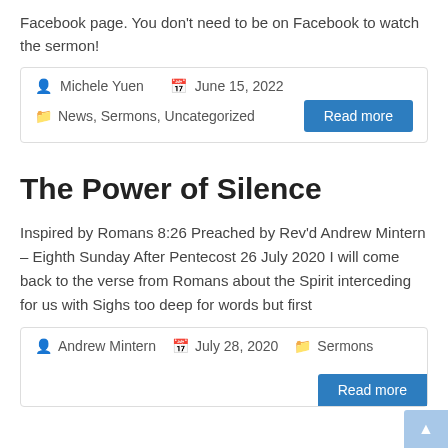Facebook page. You don't need to be on Facebook to watch the sermon!
Michele Yuen   June 15, 2022   News, Sermons, Uncategorized   Read more
The Power of Silence
Inspired by Romans 8:26 Preached by Rev'd Andrew Mintern – Eighth Sunday After Pentecost 26 July 2020 I will come back to the verse from Romans about the Spirit interceding for us with Sighs too deep for words but first
Andrew Mintern   July 28, 2020   Sermons   Read more